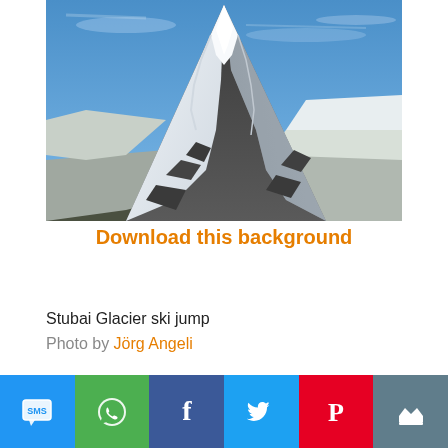[Figure (photo): Snow-covered mountain peak (Matterhorn-like) with blue sky background, steep rocky ridges with snow and ice]
Download this background
Stubai Glacier ski jump
Photo by Jörg Angeli